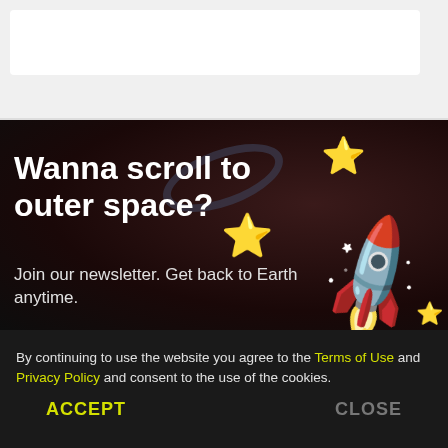[Figure (screenshot): Top browser/app bar area with white search/address bar on light grey background]
[Figure (illustration): Dark space-themed banner with large bold white text 'Wanna scroll to outer space?', subtitle 'Join our newsletter. Get back to Earth anytime.', 3D rocket emoji, yellow star emojis, and a dark planet ring illustration]
By continuing to use the website you agree to the Terms of Use and Privacy Policy and consent to the use of the cookies.
ACCEPT
CLOSE